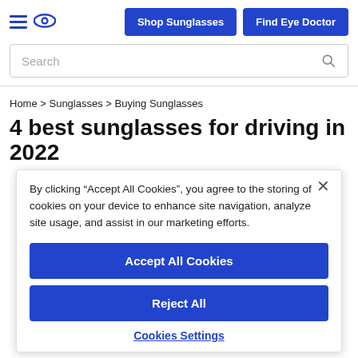Shop Sunglasses | Find Eye Doctor
Search
Home > Sunglasses > Buying Sunglasses
4 best sunglasses for driving in 2022
By clicking “Accept All Cookies”, you agree to the storing of cookies on your device to enhance site navigation, analyze site usage, and assist in our marketing efforts.
Accept All Cookies
Reject All
Cookies Settings